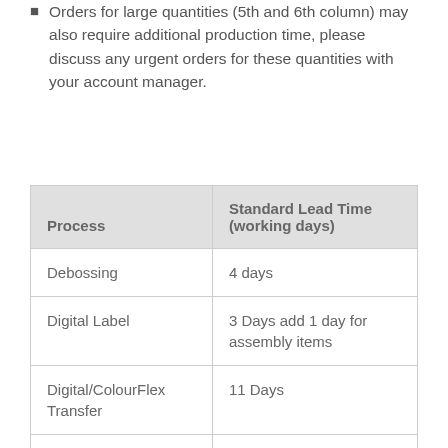Orders for large quantities (5th and 6th column) may also require additional production time, please discuss any urgent orders for these quantities with your account manager.
| Process | Standard Lead Time (working days) |
| --- | --- |
| Debossing | 4 days |
| Digital Label | 3 Days add 1 day for assembly items |
| Digital/ColourFlex Transfer | 11 Days |
| Direct Digital | 6 days |
| Embroidery (up to 10k stitches) | 4 days |
| Laser Engraving | 10 Days |